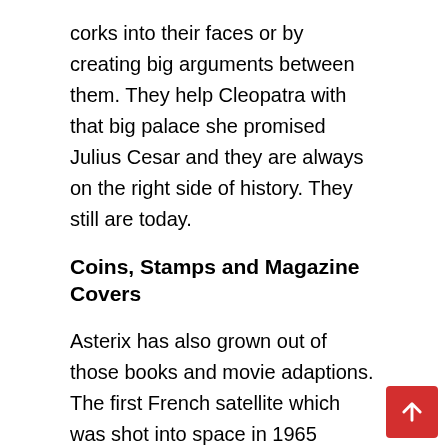corks into their faces or by creating big arguments between them. They help Cleopatra with that big palace she promised Julius Cesar and they are always on the right side of history. They still are today.
Coins, Stamps and Magazine Covers
Asterix has also grown out of those books and movie adaptions. The first French satellite which was shot into space in 1965 carries his name. In 1991, the Gaul appeared on the cover of ‘Time’ magazine. There are coins and stamps with Asterix’ face. For the 50th anniversary in 2009, he appeared on Google Search’s main page.
As it turned out, the Asterix series did not